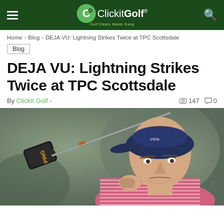ClickitGolf - Golf Deals Made Easy
Home > Blog > DEJA VU: Lightning Strikes Twice at TPC Scottsdale
Blog
DEJA VU: Lightning Strikes Twice at TPC Scottsdale
By ClickIt Golf - 147 views 0 comments
[Figure (photo): Golfer wearing a navy cap with PING driver in follow-through swing position, wearing a pink/white striped shirt]